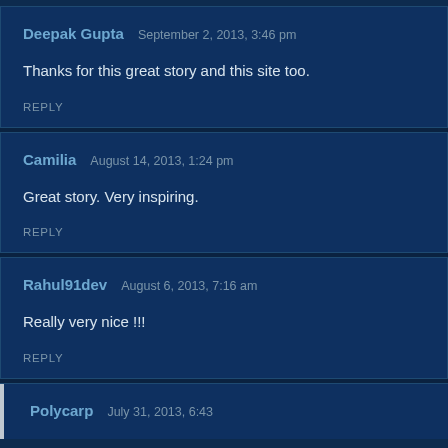Deepak Gupta  September 2, 2013, 3:46 pm
Thanks for this great story and this site too.
REPLY
Camilia  August 14, 2013, 1:24 pm
Great story. Very inspiring.
REPLY
Rahul91dev  August 6, 2013, 7:16 am
Really very nice !!!
REPLY
Polycarp  July 31, 2013, 6:43